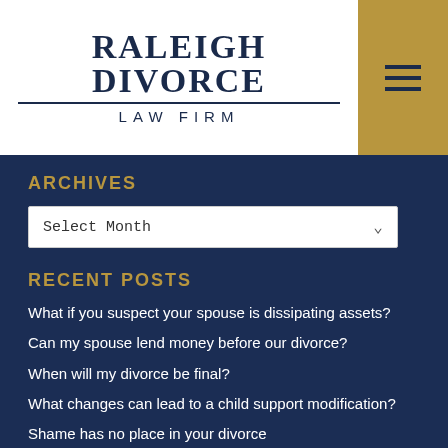RALEIGH DIVORCE LAW FIRM
ARCHIVES
Select Month
RECENT POSTS
What if you suspect your spouse is dissipating assets?
Can my spouse lend money before our divorce?
When will my divorce be final?
What changes can lead to a child support modification?
Shame has no place in your divorce